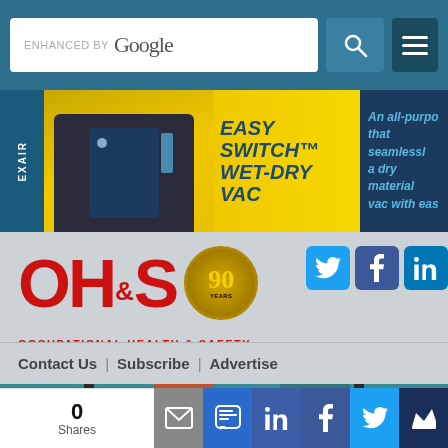[Figure (screenshot): Website header with Google search bar, search button icon, and hamburger menu on teal/blue background]
[Figure (photo): EXAIR Easy Switch Wet-Dry Vac advertisement banner with yellow background, product image, and blue text panel]
[Figure (logo): OH&S Occupational Health & Safety magazine logo with red letters and gold 90th anniversary badge]
[Figure (infographic): Social share icons: Twitter bird, Facebook f, LinkedIn in]
Contact Us | Subscribe | Advertise
[Figure (illustration): Live webinar illustration showing a woman presenter on a laptop screen with chat panel]
0
Shares
[Figure (infographic): Social share bar with email, SMS/mobile, LinkedIn, Facebook, Twitter, and crown icons]